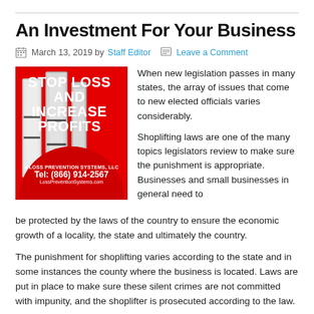An Investment For Your Business
March 13, 2019 by Staff Editor   Leave a Comment
[Figure (illustration): Advertisement for Loss Prevention Systems LLC showing EAS security gates with red background, text 'STOP LOSS AND INCREASE PROFITS', Tel: (866) 914-2567, LossPreventionSystems.com]
When new legislation passes in many states, the array of issues that come to new elected officials varies considerably.
Shoplifting laws are one of the many topics legislators review to make sure the punishment is appropriate.  Businesses and small businesses in general need to be protected by the laws of the country to ensure the economic growth of a locality, the state and ultimately the country.
The punishment for shoplifting varies according to the state and in some instances the county where the business is located.  Laws are put in place to make sure these silent crimes are not committed with impunity, and the shoplifter is prosecuted according to the law.